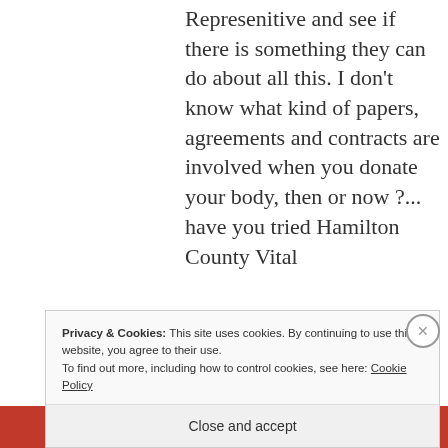Represenitive and see if there is something they can do about all this. I don't know what kind of papers, agreements and contracts are involved when you donate your body, then or now ?... have you tried Hamilton County Vital
Privacy & Cookies: This site uses cookies. By continuing to use this website, you agree to their use.
To find out more, including how to control cookies, see here: Cookie Policy
Close and accept